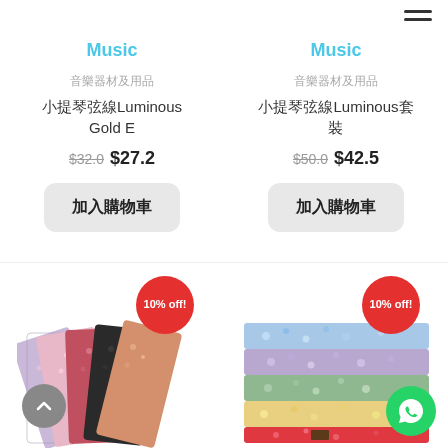Music
音樂器材及用品
小提琴弦線Luminous Gold E
$32.0  $27.2
加入購物車
Music
音樂器材及用品
小提琴弦線Luminous套裝
$50.0  $42.5
加入購物車
[Figure (photo): Colorful floral patterned violin string packages, single pieces fanned out, with 10% off badge]
[Figure (photo): Colorful floral patterned violin string set packages stacked, with 10% off badge]